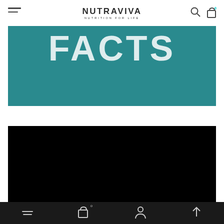NUTRAVIVA NUTRITION FOR LIFE
[Figure (screenshot): Teal banner with bold white text 'FACTS' partially visible at top]
[Figure (photo): Black rectangular panel filling lower portion of page]
Navigation bar with hamburger menu, cart (0), account, and scroll-up icons